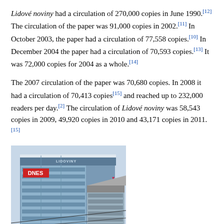Lidové noviny had a circulation of 270,000 copies in June 1990.[12] The circulation of the paper was 91,000 copies in 2002.[11] In October 2003, the paper had a circulation of 77,558 copies.[10] In December 2004 the paper had a circulation of 70,593 copies.[13] It was 72,000 copies for 2004 as a whole.[14]
The 2007 circulation of the paper was 70,680 copies. In 2008 it had a circulation of 70,413 copies[15] and reached up to 232,000 readers per day.[2] The circulation of Lidové noviny was 58,543 copies in 2009, 49,920 copies in 2010 and 43,171 copies in 2011.[15]
[Figure (photo): Photograph of a modern glass office building with 'DNES' and 'LIDOVINY' signage on the facade, and a partial sign reading 'Jo' visible on the right. Power lines cross in front of the building.]